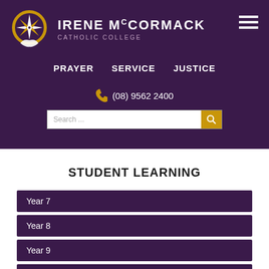[Figure (logo): Irene McCormack Catholic College logo — circular emblem with compass star and hands]
IRENE McCORMACK CATHOLIC COLLEGE
PRAYER   SERVICE   JUSTICE
(08) 9562 2400
STUDENT LEARNING
Year 7
Year 8
Year 9
Year 10